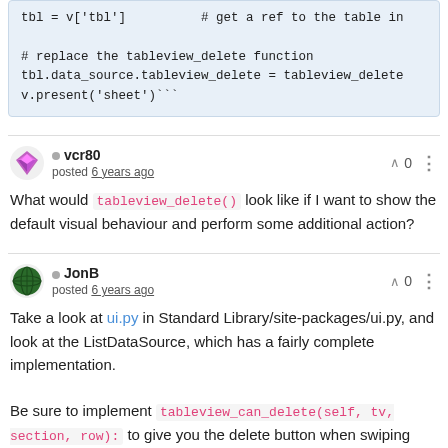tbl = v['tbl']    # get a ref to the table in

# replace the tableview_delete function
tbl.data_source.tableview_delete = tableview_delete
v.present('sheet')```
vcr80
posted 6 years ago
What would tableview_delete() look like if I want to show the default visual behaviour and perform some additional action?
JonB
posted 6 years ago
Take a look at ui.py in Standard Library/site-packages/ui.py, and look at the ListDataSource, which has a fairly complete implementation.
Be sure to implement tableview_can_delete(self, tv, section, row): to give you the delete button when swiping left.